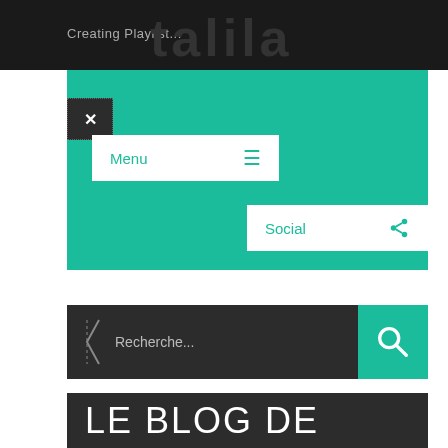Creating Playlist...
[Figure (screenshot): Teal navigation box with Menu button and hamburger icon]
Menu
Social
[Figure (screenshot): Dark search bar with Recherche... placeholder and teal search button]
Recherche...
LE BLOG DE TALILA